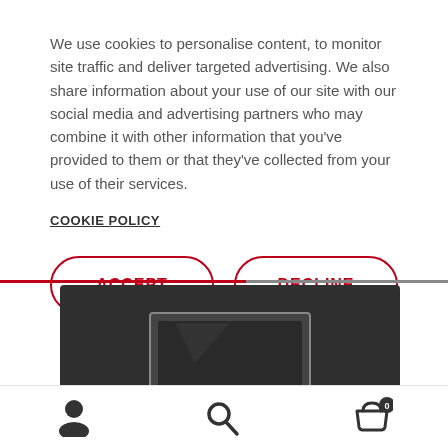We use cookies to personalise content, to monitor site traffic and deliver targeted advertising. We also share information about your use of our site with our social media and advertising partners who may combine it with other information that you've provided to them or that they've collected from your use of their services.
COOKIE POLICY
ACCEPT
DECLINE
[Figure (photo): Dark background product image showing a monitor/display screen]
[Figure (infographic): Bottom navigation bar with user account icon, search icon, and shopping basket icon with badge showing 0]